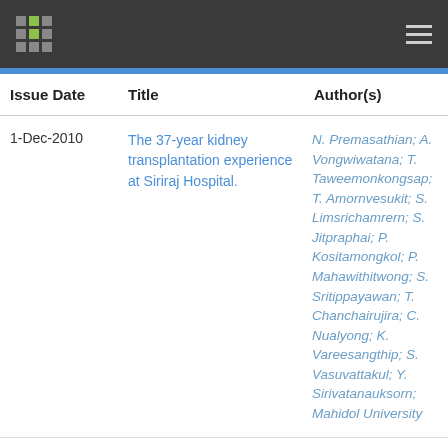| Issue Date | Title | Author(s) |
| --- | --- | --- |
| 1-Dec-2010 | The 37-year kidney transplantation experience at Siriraj Hospital. | N. Premasathian; A. Vongwiwatana; T. Taweemonkongsap; T. Amornvesukit; S. Limsrichamrern; S. Jitpraphai; P. Kositamongkol; P. Mahawithitwong; S. Sritippayawan; T. Chanchairujira; C. Nualyong; K. Vareesangthip; S. Vasuvattakul; Y. Sirivatanauksorn; Mahidol University |
| 1-Sep-2011 | Alkaline citrate reduces | B. Lojanapiwat; M. |